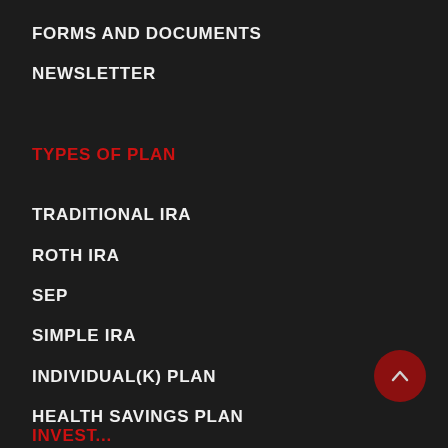FORMS AND DOCUMENTS
NEWSLETTER
TYPES OF PLAN
TRADITIONAL IRA
ROTH IRA
SEP
SIMPLE IRA
INDIVIDUAL(K) PLAN
HEALTH SAVINGS PLAN
[Figure (other): Dark red circular scroll-to-top button with upward chevron arrow]
INVEST...